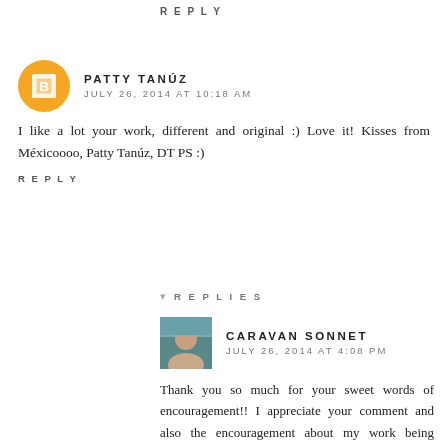:) Rebecca
REPLY
PATTY TANÚZ
JULY 26, 2014 AT 10:18 AM
I like a lot your work, different and original :) Love it! Kisses from Méxicoooo, Patty Tanúz, DT PS :)
REPLY
REPLIES
CARAVAN SONNET
JULY 26, 2014 AT 4:08 PM
Thank you so much for your sweet words of encouragement!! I appreciate your comment and also the encouragement about my work being different and original. Thank you!